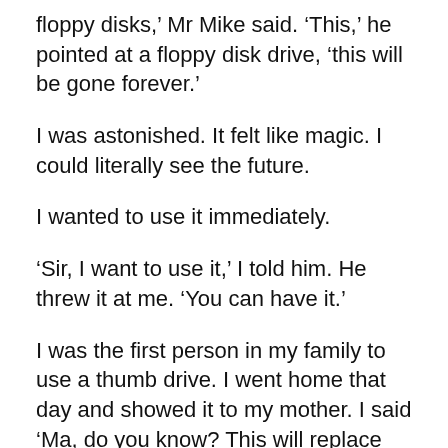floppy disks,’ Mr Mike said. ‘This,’ he pointed at a floppy disk drive, ‘this will be gone forever.’
I was astonished. It felt like magic. I could literally see the future.
I wanted to use it immediately.
‘Sir, I want to use it,’ I told him. He threw it at me. ‘You can have it.’
I was the first person in my family to use a thumb drive. I went home that day and showed it to my mother. I said ‘Ma, do you know? This will replace floppy disks very soon! My teacher said one day there will be no floppy disk drives!’